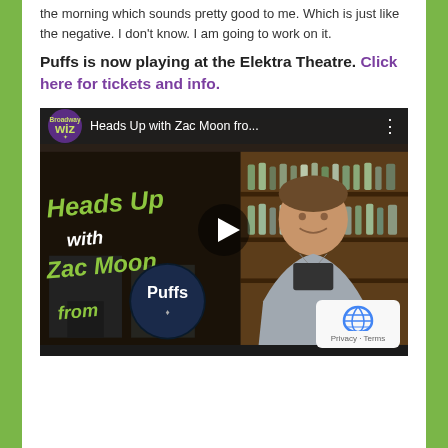the morning which sounds pretty good to me. Which is just like the negative. I don't know. I am going to work on it.
Puffs is now playing at the Elektra Theatre. Click here for tickets and info.
[Figure (screenshot): YouTube-style video thumbnail showing 'Heads Up with Zac Moon fro...' with Broadway Wiz logo, green graphic text reading 'Heads Up with Zac Moon from', Puffs show logo, and a smiling man in a grey shirt standing in front of shelves with bottles. A play button is visible in the center.]